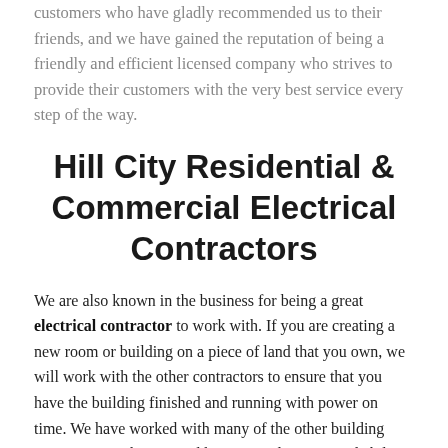customers who have gladly recommended us to their friends, and we have gained the reputation of being a friendly and efficient licensed company who strives to provide their customers with the very best service every step of the way.
Hill City Residential & Commercial Electrical Contractors
We are also known in the business for being a great electrical contractor to work with. If you are creating a new room or building on a piece of land that you own, we will work with the other contractors to ensure that you have the building finished and running with power on time. We have worked with many of the other building contractors in the city and have a good rapport and ability to coordinate tight schedules for the best customer service possible.
We respect our customers and want to be available to everyone. We